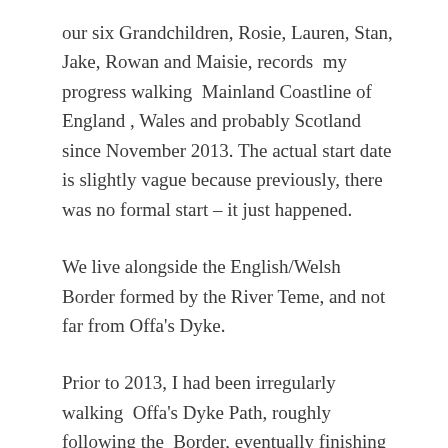our six Grandchildren, Rosie, Lauren, Stan, Jake, Rowan and Maisie, records my progress walking Mainland Coastline of England , Wales and probably Scotland since November 2013. The actual start date is slightly vague because previously, there was no formal start – it just happened.
We live alongside the English/Welsh Border formed by the River Teme, and not far from Offa's Dyke.
Prior to 2013, I had been irregularly walking Offa's Dyke Path, roughly following the Border, eventually finishing in the North at Prestatyn and The Old Severn Bridge at Chepstow in the South. Here, in Shropshire, we live very close to the most beautiful stretches of Offa's Dyke trail, and access to the route was easy, using The OS Trail Guides as the Bible, aided and abetted by the Stretch